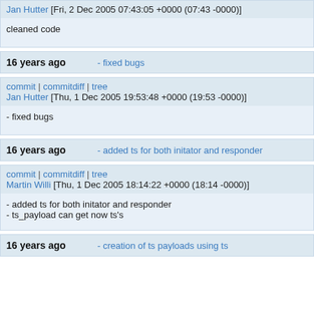Jan Hutter [Fri, 2 Dec 2005 07:43:05 +0000 (07:43 -0000)]
cleaned code
16 years ago   - fixed bugs
commit | commitdiff | tree
Jan Hutter [Thu, 1 Dec 2005 19:53:48 +0000 (19:53 -0000)]
- fixed bugs
16 years ago   - added ts for both initator and responder
commit | commitdiff | tree
Martin Willi [Thu, 1 Dec 2005 18:14:22 +0000 (18:14 -0000)]
- added ts for both initator and responder
- ts_payload can get now ts's
16 years ago   - creation of ts payloads using ts